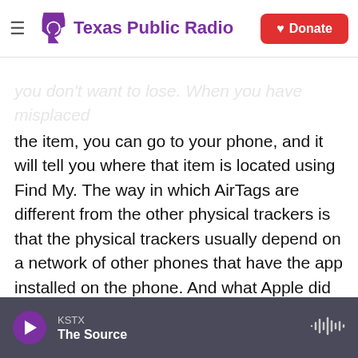Texas Public Radio
you don't want to lose. When you have misplaced the item, you can go to your phone, and it will tell you where that item is located using Find My. The way in which AirTags are different from the other physical trackers is that the physical trackers usually depend on a network of other phones that have the app installed on the phone. And what Apple did was, essentially, they decided to use the entire network of devices with Find My installed on them, which is nearly every iPhone that exists.
MARTIN: So the idea is that this would be your device that you would use for yourself. And what I think I hear you saying is that because the way this
KSTX — The Source